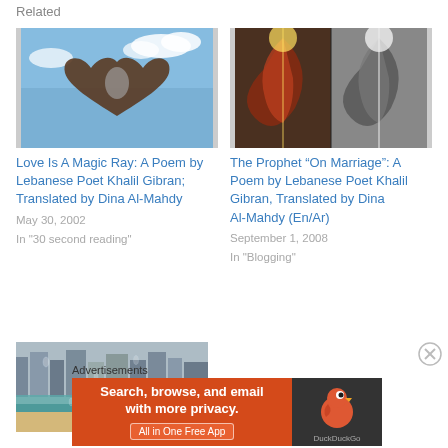Related
[Figure (photo): Hands forming a heart shape against a blue sky with clouds]
Love Is A Magic Ray: A Poem by Lebanese Poet Khalil Gibran; Translated by Dina Al-Mahdy
May 30, 2002
In "30 second reading"
[Figure (photo): Two side-by-side images of what appears to be a leaf or plant — one in color (warm tones) and one in black and white, both with sunlight flare]
The Prophet “On Marriage”: A Poem by Lebanese Poet Khalil Gibran, Translated by Dina Al-Mahdy (En/Ar)
September 1, 2008
In "Blogging"
[Figure (photo): A beach and city skyline photograph, partially obscured by rain drops on glass]
Advertisements
[Figure (screenshot): DuckDuckGo advertisement banner: 'Search, browse, and email with more privacy. All in One Free App' with DuckDuckGo logo on dark background]